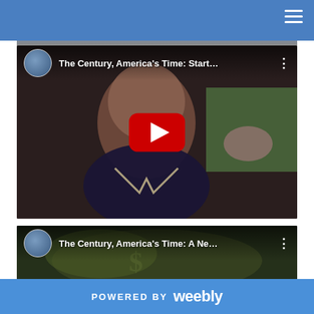[Figure (screenshot): YouTube video thumbnail: 'The Century, America's Time: Start...' showing a woman being interviewed, with a red YouTube play button overlay]
[Figure (screenshot): YouTube video thumbnail: 'The Century, America's Time: A Ne...' showing currency/money imagery, partial view]
POWERED BY weebly